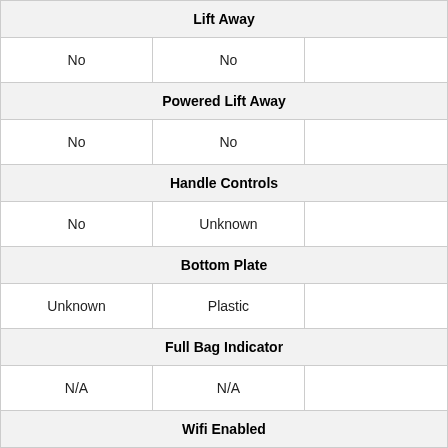| Lift Away |  |  |
| No | No |  |
| Powered Lift Away |  |  |
| No | No |  |
| Handle Controls |  |  |
| No | Unknown |  |
| Bottom Plate |  |  |
| Unknown | Plastic |  |
| Full Bag Indicator |  |  |
| N/A | N/A |  |
| Wifi Enabled |  |  |
| No | Unknown |  |
| What's in the Box |  |  |